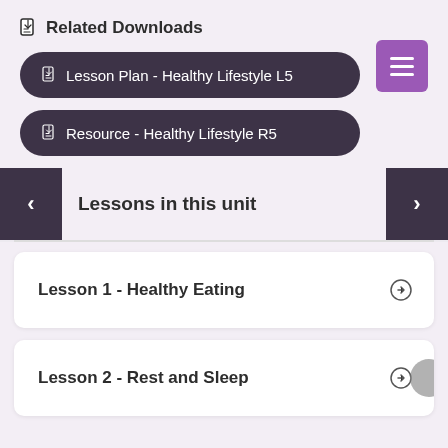Related Downloads
Lesson Plan - Healthy Lifestyle L5
Resource - Healthy Lifestyle R5
Lessons in this unit
Lesson 1 - Healthy Eating
Lesson 2 - Rest and Sleep